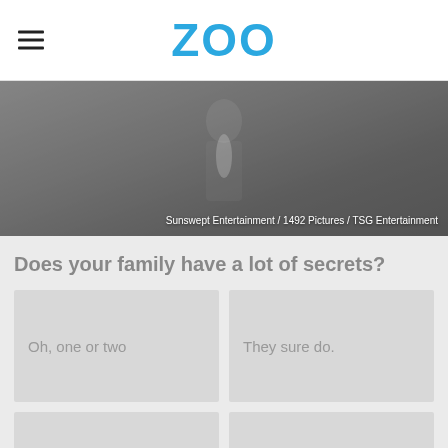ZOO
[Figure (photo): Grayscale hero image with film studio credits: Sunswept Entertainment / 1492 Pictures / TSG Entertainment]
Sunswept Entertainment / 1492 Pictures / TSG Entertainment
Does your family have a lot of secrets?
Oh, one or two
They sure do.
Maybe?
Not that I know of
Advertisement